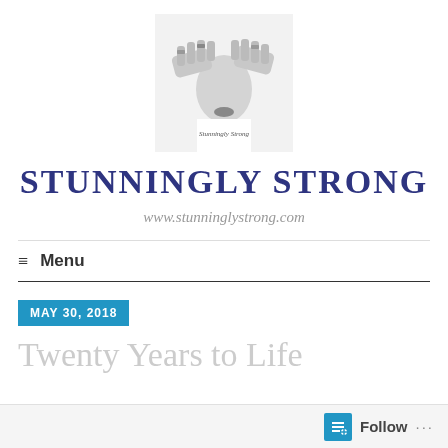[Figure (photo): Black and white photo of a woman covering her eyes with jewel-ringed hands, with text 'Stunningly Strong' overlay]
STUNNINGLY STRONG
www.stunninglystrong.com
≡  Menu
MAY 30, 2018
Twenty Years to Life
Follow  ...